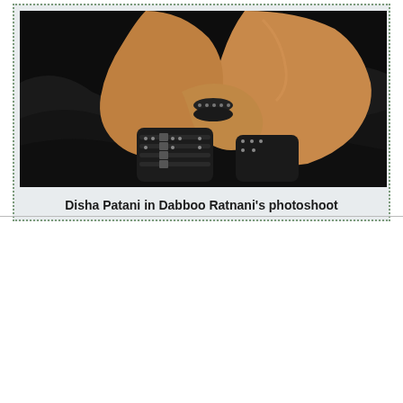[Figure (photo): Dark artistic photoshoot photo showing Disha Patani seated, wearing studded black boots and bracelets, with legs visible against a dark black background fabric]
Disha Patani in Dabboo Ratnani's photoshoot